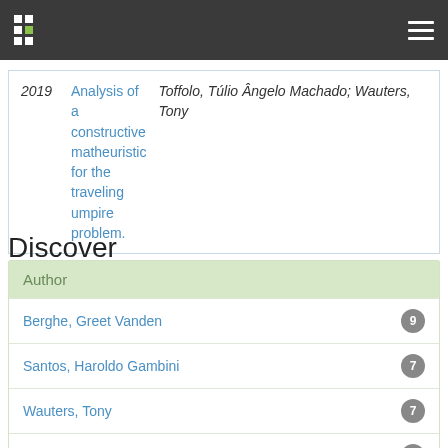Navigation bar with logo and menu
| Year | Title | Authors |
| --- | --- | --- |
| 2019 | Analysis of a constructive matheuristic for the traveling umpire problem. | Toffolo, Túlio Ângelo Machado; Wauters, Tony |
Discover
| Author | Count |
| --- | --- |
| Berghe, Greet Vanden | 9 |
| Santos, Haroldo Gambini | 7 |
| Wauters, Tony | 7 |
| Souza, Marcone Jamilson Freitas | 3 |